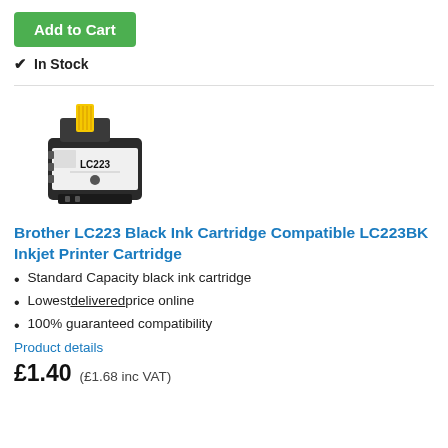Add to Cart
✔ In Stock
[Figure (photo): Black ink cartridge product image - Brother LC223 black ink cartridge with yellow pull tab and LC223 label on the front]
Brother LC223 Black Ink Cartridge Compatible LC223BK Inkjet Printer Cartridge
Standard Capacity black ink cartridge
Lowest delivered price online
100% guaranteed compatibility
Product details
£1.40 (£1.68 inc VAT)